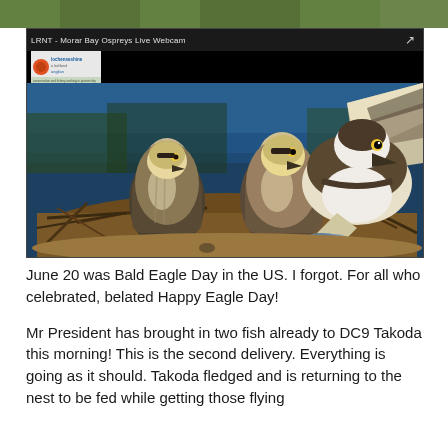[Figure (photo): Top strip of a nature/bird photo partially visible at the top of the page - appears to show foliage or bird feathers in brown/green tones]
[Figure (screenshot): Screenshot of a live webcam feed titled 'LRNT - Morar Bay Ospreys Live Webcam' showing ospreys in a nest by water. An adult osprey with wings spread is visible on the right, and two juvenile ospreys are in the nest. The webcam interface shows logos for Scottish conservation organizations. A share icon is visible in the top right corner of the webcam frame.]
June 20 was Bald Eagle Day in the US. I forgot. For all who celebrated, belated Happy Eagle Day!
Mr President has brought in two fish already to DC9 Takoda this morning! This is the second delivery. Everything is going as it should. Takoda fledged and is returning to the nest to be fed while getting those flying